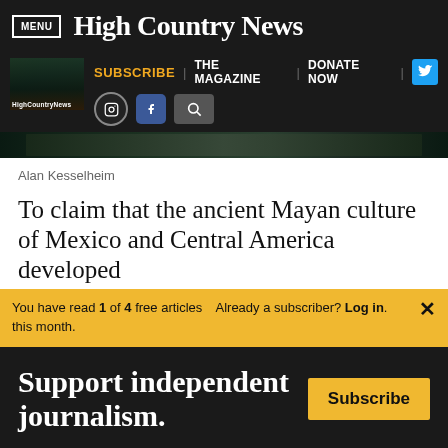MENU | High Country News
SUBSCRIBE | THE MAGAZINE | DONATE NOW
[Figure (photo): Hero image strip — tropical foliage, dark tones]
Alan Kesselheim
To claim that the ancient Mayan culture of Mexico and Central America developed
You have read 1 of 4 free articles this month. Already a subscriber? Log in. ×
Support independent journalism. Subscribe